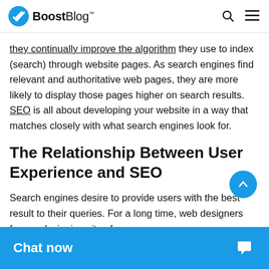BoostBlog
they continually improve the algorithm they use to index (search) through website pages. As search engines find relevant and authoritative web pages, they are more likely to display those pages higher on search results. SEO is all about developing your website in a way that matches closely with what search engines look for.
The Relationship Between User Experience and SEO
Search engines desire to provide users with the best result to their queries. For a long time, web designers focuse designing sites for sear